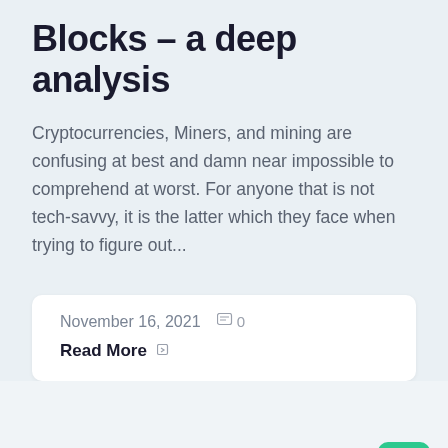Blocks – a deep analysis
Cryptocurrencies, Miners, and mining are confusing at best and damn near impossible to comprehend at worst. For anyone that is not tech-savvy, it is the latter which they face when trying to figure out...
November 16, 2021   0
Read More